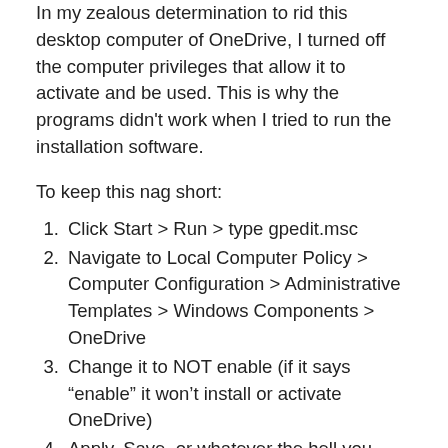In my zealous determination to rid this desktop computer of OneDrive, I turned off the computer privileges that allow it to activate and be used. This is why the programs didn't work when I tried to run the installation software.
To keep this nag short:
Click Start > Run > type gpedit.msc
Navigate to Local Computer Policy > Computer Configuration > Administrative Templates > Windows Components > OneDrive
Change it to NOT enable (if it says “enable” it won’t install or activate OneDrive)
Apply, Save, or whatever the hell you have to do to make it take
Download OneDrive (not the business version)
Install it and pay close attention to where it sets the default OneDrive folder(s) through the installation